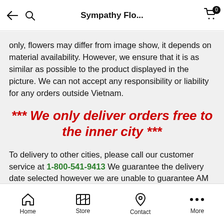Sympathy Flo...
only, flowers may differ from image show, it depends on material availability. However, we ensure that it is as similar as possible to the product displayed in the picture. We can not accept any responsibility or liability for any orders outside Vietnam.
*** We only deliver orders free to the inner city ***
To delivery to other cities, please call our customer service at 1-800-541-9413 We guarantee the delivery date selected however we are unable to guarantee AM or specific delivery time slots. We will do our best to deliver as soon as possible.
Home  Store  Contact  More